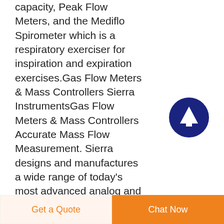capacity, Peak Flow Meters, and the Mediflo Spirometer which is a respiratory exerciser for inspiration and expiration exercises.Gas Flow Meters & Mass Controllers Sierra InstrumentsGas Flow Meters & Mass Controllers Accurate Mass Flow Measurement. Sierra designs and manufactures a wide range of today's most advanced analog and digital gas flow meters, mass flow meters, mass controllers and switches across three core technologies Capillary Thermal, Immersible Thermal, and Mass
[Figure (other): Dark navy blue circular button with an upward-pointing arrow icon, used as a scroll-to-top navigation button.]
Get a Quote | Chat Now